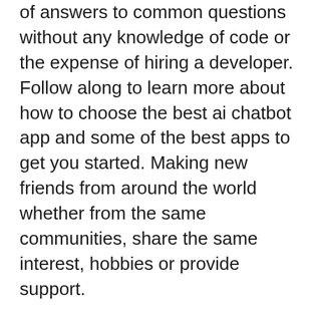of answers to common questions without any knowledge of code or the expense of hiring a developer. Follow along to learn more about how to choose the best ai chatbot app and some of the best apps to get you started. Making new friends from around the world whether from the same communities, share the same interest, hobbies or provide support.
The app is quite simple to use — log in, verify your number, and make quick video calls just like standard phone calls. Michael brown @miketheceleb ceo/founder speak to the miketheceleb! Chat heads for social messaging apps.
The developer encourag collaboration and